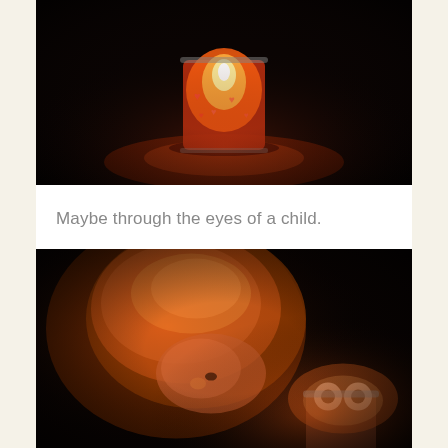[Figure (photo): A glowing red candle in a glass jar decorated with heart patterns, photographed against a dark background with warm orange-red light reflected on the surface beneath.]
Maybe through the eyes of a child.
[Figure (photo): A young child with light brown/blonde hair leaning over a lit candle in a glass, face illuminated by warm orange candlelight against a dark background.]